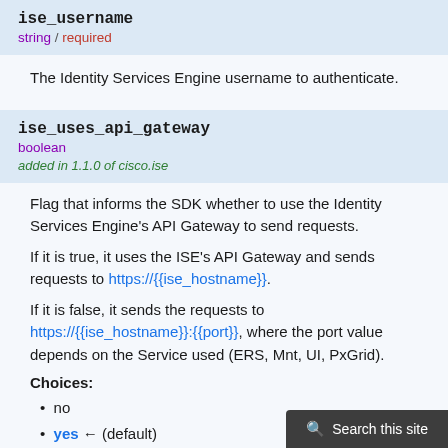ise_username
string / required
The Identity Services Engine username to authenticate.
ise_uses_api_gateway
boolean
added in 1.1.0 of cisco.ise
Flag that informs the SDK whether to use the Identity Services Engine's API Gateway to send requests.
If it is true, it uses the ISE's API Gateway and sends requests to https://{{ise_hostname}}.
If it is false, it sends the requests to https://{{ise_hostname}}:{{port}}, where the port value depends on the Service used (ERS, Mnt, UI, PxGrid).
Choices:
no
yes ← (default)